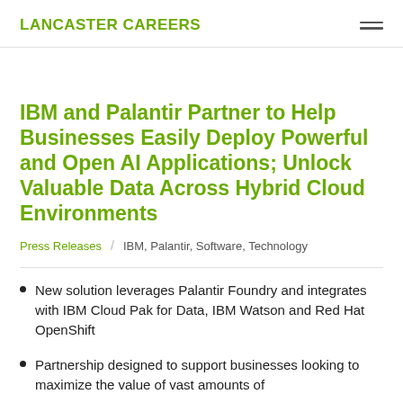LANCASTER CAREERS
IBM and Palantir Partner to Help Businesses Easily Deploy Powerful and Open AI Applications; Unlock Valuable Data Across Hybrid Cloud Environments
Press Releases / IBM, Palantir, Software, Technology
New solution leverages Palantir Foundry and integrates with IBM Cloud Pak for Data, IBM Watson and Red Hat OpenShift
Partnership designed to support businesses looking to maximize the value of vast amounts of